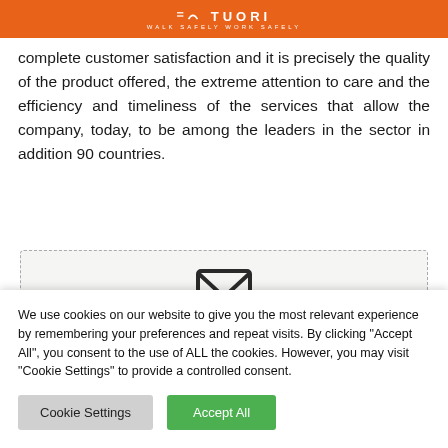WALK SAFELY WORK SAFELY
complete customer satisfaction and it is precisely the quality of the product offered, the extreme attention to care and the efficiency and timeliness of the services that allow the company, today, to be among the leaders in the sector in addition 90 countries.
[Figure (illustration): Email/envelope icon centered in a dashed-border contact box]
If you need to ask something specific, write me on
We use cookies on our website to give you the most relevant experience by remembering your preferences and repeat visits. By clicking "Accept All", you consent to the use of ALL the cookies. However, you may visit "Cookie Settings" to provide a controlled consent.
Cookie Settings | Accept All